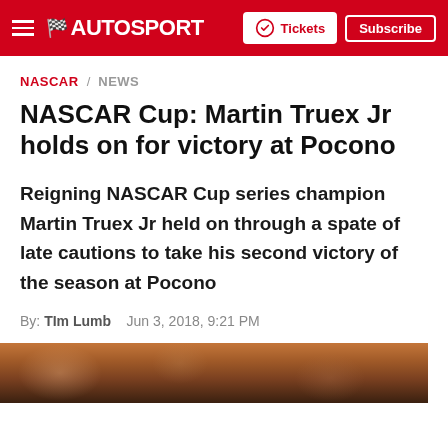AUTOSPORT — Tickets | Subscribe
NASCAR / NEWS
NASCAR Cup: Martin Truex Jr holds on for victory at Pocono
Reigning NASCAR Cup series champion Martin Truex Jr held on through a spate of late cautions to take his second victory of the season at Pocono
By: Tim Lumb   Jun 3, 2018, 9:21 PM
[Figure (photo): Crowd photo at Pocono race, showing spectators in stands with orange/brown tones]